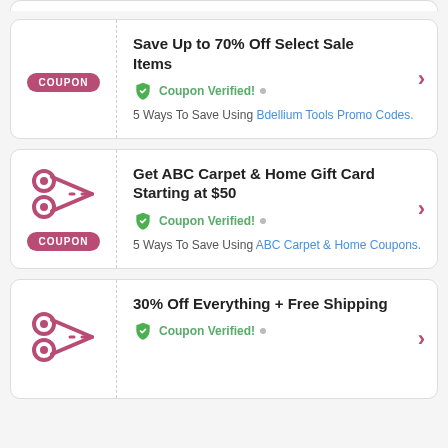[Figure (other): Coupon card: Save Up to 70% Off Select Sale Items, Coupon Verified, 5 Ways To Save Using Bdellium Tools Promo Codes.]
[Figure (other): Coupon card: Get ABC Carpet & Home Gift Card Starting at $50, Coupon Verified, 5 Ways To Save Using ABC Carpet & Home Coupons.]
[Figure (other): Coupon card: 30% Off Everything + Free Shipping, Coupon Verified.]